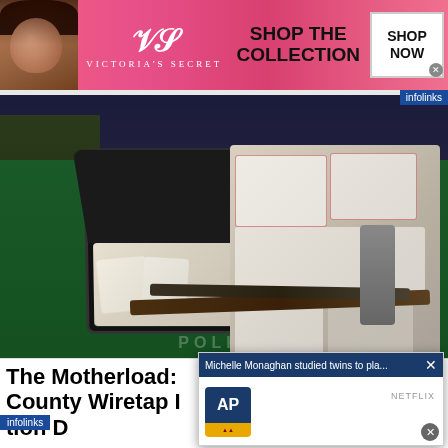[Figure (photo): Victoria's Secret advertisement banner with model, logo, and 'SHOP THE COLLECTION' text with 'SHOP NOW' button]
[Figure (photo): News photo of Polk County drug bust press conference showing suitcases with seized drugs, weapons, and sheriff at podium with 'Sheriff Grady Judd' sign]
The Motherload: County Wiretap I...tion D...
[Figure (screenshot): Overlay popup showing 'Michelle Monaghan studied twins to pla...' with AP logo and Netflix branding]
[Figure (photo): Quicken advertisement: 'Take Control of Your Finances' with BUY NOW button and woman with laptop image]